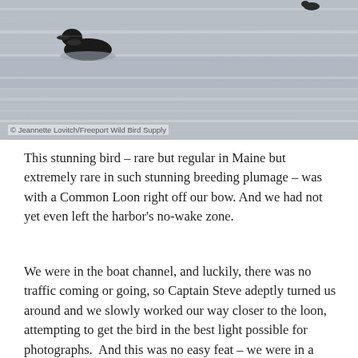[Figure (photo): A loon swimming on calm water with rippled grey surface. A bird silhouette is visible in the upper left area and a smaller bird/shape near upper right. Photo credit: Jeannette Lovitch/Freeport Wild Bird Supply.]
© Jeannette Lovitch/Freeport Wild Bird Supply
This stunning bird – rare but regular in Maine but extremely rare in such stunning breeding plumage – was with a Common Loon right off our bow. And we had not yet even left the harbor's no-wake zone.
We were in the boat channel, and luckily, there was no traffic coming or going, so Captain Steve adeptly turned us around and we slowly worked our way closer to the loon, attempting to get the bird in the best light possible for photographs.  And this was no easy feat – we were in a narrow channel and if there were any other boats coming